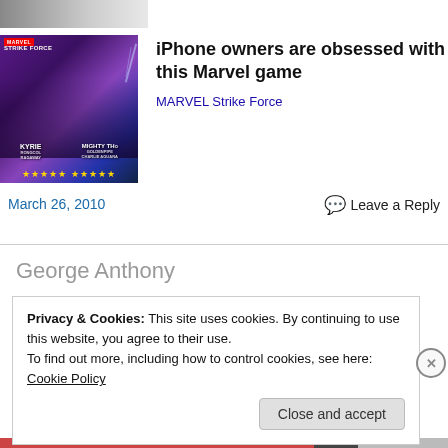[Figure (photo): Partial cropped image at top showing legs/feet, gray background]
[Figure (photo): Marvel Strike Force game advertisement image showing Valkyrie and Mighty Thor characters with gold stars rating]
iPhone owners are obsessed with this Marvel game
MARVEL Strike Force
March 26, 2010
Leave a Reply
George Anthony
Privacy & Cookies: This site uses cookies. By continuing to use this website, you agree to their use.
To find out more, including how to control cookies, see here: Cookie Policy
Close and accept